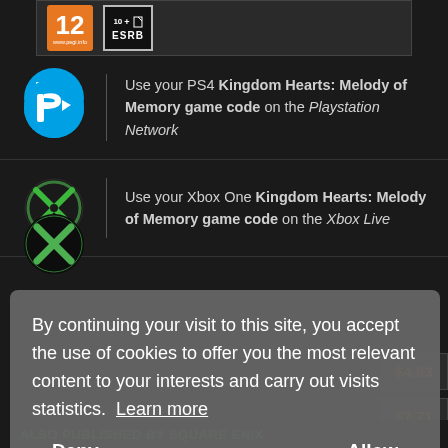[Figure (logo): PEGI 12 and ESRB 10+ rating badges]
Use your PS4 Kingdom Hearts: Melody of Memory game code on the Playstation Network
Use your Xbox One Kingdom Hearts: Melody of Memory game code on the Xbox Live
By continuing your visit to this site, you accept the use of cookies to offer you the most relevant content to your interests and carry out visits statistics.  Learn more
Deny    Allow
$4.83
$7.71
ALSO PUBLISHED BY SQUARE ENIX